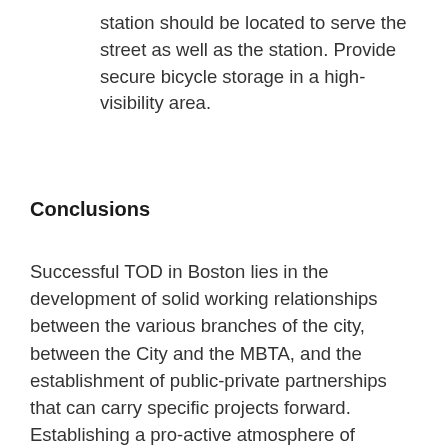station should be located to serve the street as well as the station. Provide secure bicycle storage in a high-visibility area.
Conclusions
Successful TOD in Boston lies in the development of solid working relationships between the various branches of the city, between the City and the MBTA, and the establishment of public-private partnerships that can carry specific projects forward. Establishing a pro-active atmosphere of cooperation with the neighborhoods and the MBTA is essential to gather public support and to develop creative solutions to design and financing. In the course of this study, we learned there are three significant maxims for creating a successful TOD program in older, dense cities such